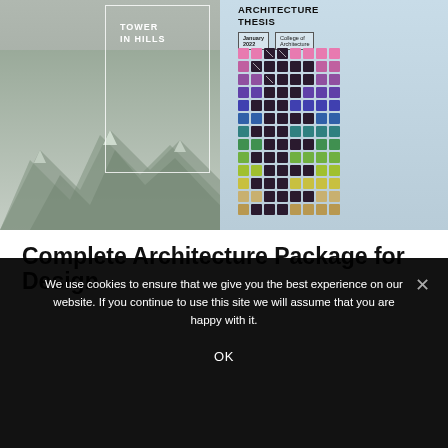[Figure (illustration): Two side-by-side document covers: left shows a pencil sketch of mountain hills with a white rectangular outline and 'TOWER IN HILLS' text; right shows an architecture thesis cover with light blue background, 'ARCHITECTURE THESIS' title, 'January 2022', 'College of Architecture' metadata, and a colorful pixel/module grid gradient from pink/purple at top to yellow/tan at bottom.]
Complete Architecture Package for Design
We use cookies to ensure that we give you the best experience on our website. If you continue to use this site we will assume that you are happy with it.
OK